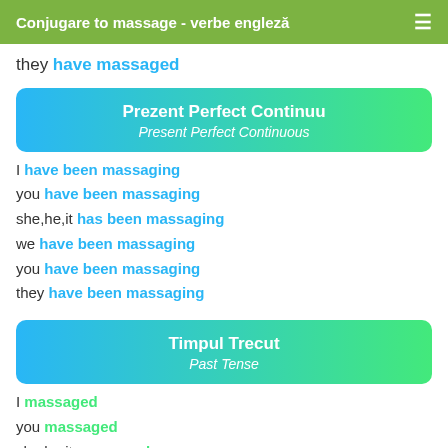Conjugare to massage - verbe engleză
they have massaged
Prezent Perfect Continuu / Present Perfect Continuous
I have been massaging
you have been massaging
she,he,it has been massaging
we have been massaging
you have been massaging
they have been massaging
Timpul Trecut / Past Tense
I massaged
you massaged
she,he,it massaged